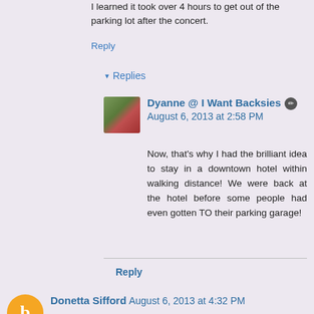I learned it took over 4 hours to get out of the parking lot after the concert.
Reply
▾ Replies
Dyanne @ I Want Backsies ✏ August 6, 2013 at 2:58 PM
Now, that's why I had the brilliant idea to stay in a downtown hotel within walking distance! We were back at the hotel before some people had even gotten TO their parking garage!
Reply
Donetta Sifford August 6, 2013 at 4:32 PM